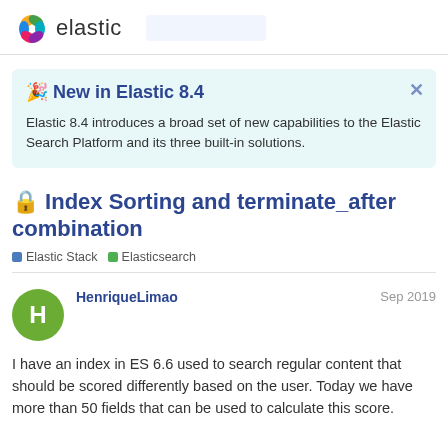elastic
🎉 New in Elastic 8.4
Elastic 8.4 introduces a broad set of new capabilities to the Elastic Search Platform and its three built-in solutions.
🔒 Index Sorting and terminate_after combination
Elastic Stack   Elasticsearch
HenriqueLimao  Sep 2019
I have an index in ES 6.6 used to search regular content that should be scored differently based on the user. Today we have more than 50 fields that can be used to calculate this score.